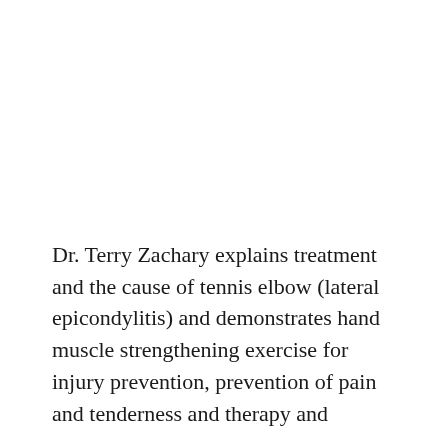Dr. Terry Zachary explains treatment and the cause of tennis elbow (lateral epicondylitis) and demonstrates hand muscle strengthening exercise for injury prevention, prevention of pain and tenderness and therapy and